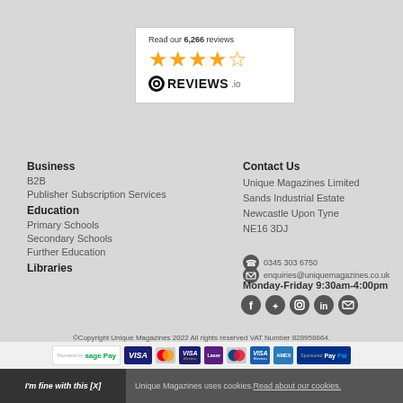[Figure (logo): Reviews.io widget showing 'Read our 6,266 reviews' with 4 orange stars and the Reviews.io logo]
Business
B2B
Publisher Subscription Services
Education
Primary Schools
Secondary Schools
Further Education
Libraries
Contact Us
Unique Magazines Limited
Sands Industrial Estate
Newcastle Upon Tyne
NE16 3DJ
0345 303 6750
enquiries@uniquemagazines.co.uk
Monday-Friday 9:30am-4:00pm
[Figure (infographic): Social media icons: Facebook, Twitter, Instagram, LinkedIn, Newsletter]
©Copyright Unique Magazines 2022 All rights reserved VAT Number 828958664.
[Figure (infographic): Payment method logos: Sage Pay, Visa, MasterCard, Visa Electron, Laser, Maestro, Visa Electron, American Express, PayPal]
I'm fine with this [X]
Unique Magazines uses cookies. Read about our cookies.